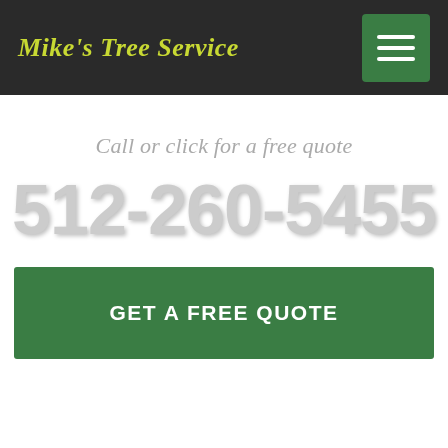Mike's Tree Service
Call or click for a free quote
512-260-5455
GET A FREE QUOTE